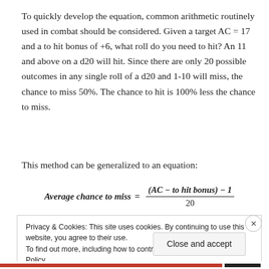To quickly develop the equation, common arithmetic routinely used in combat should be considered. Given a target AC = 17 and a to hit bonus of +6, what roll do you need to hit? An 11 and above on a d20 will hit. Since there are only 20 possible outcomes in any single roll of a d20 and 1-10 will miss, the chance to miss 50%. The chance to hit is 100% less the chance to miss.
This method can be generalized to an equation:
Privacy & Cookies: This site uses cookies. By continuing to use this website, you agree to their use. To find out more, including how to control cookies, see here: Cookie Policy
Close and accept